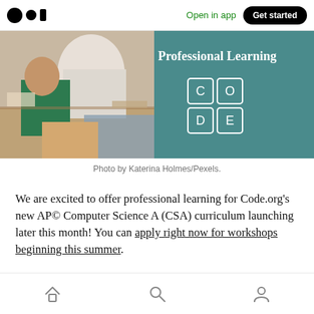[Figure (screenshot): Medium app top navigation bar with logo, Open in app link, and Get started button]
[Figure (photo): Banner image showing students at desks on the left and a teal Code.org Professional Learning panel with CODE logo grid on the right]
Photo by Katerina Holmes/Pexels.
We are excited to offer professional learning for Code.org's new AP© Computer Science A (CSA) curriculum launching later this month! You can apply right now for workshops beginning this summer.
[Figure (screenshot): Mobile app bottom navigation bar with home, search, and profile icons]